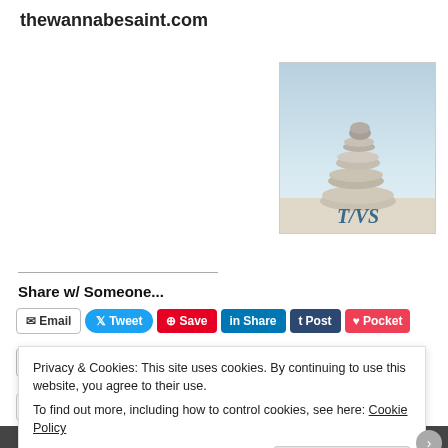thewannabesaint.com
[Figure (logo): Stacked stones/pebbles photo with TWS logo text below on a light blue background]
Share w/ Someone...
Email button
Tweet button
Save (Pinterest) button
Share (LinkedIn) button
Post (Tumblr) button
Pocket button
Print button
2 bloggers like this.
Privacy & Cookies: This site uses cookies. By continuing to use this website, you agree to their use.
To find out more, including how to control cookies, see here: Cookie Policy